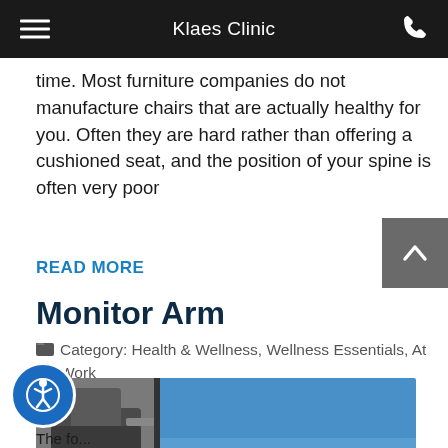Klaes Clinic
time. Most furniture companies do not manufacture chairs that are actually healthy for you. Often they are hard rather than offering a cushioned seat, and the position of your spine is often very poor
READ MORE
Monitor Arm
Category: Health & Wellness, Wellness Essentials, At Work
[Figure (photo): Photo of a monitor arm mount (metal bracket) next to a monitor or screen with a blue sky and clouds in the background]
The fo...